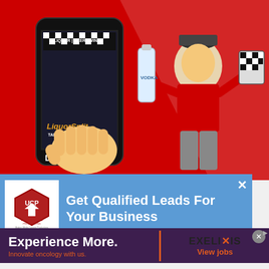[Figure (illustration): LiquorSplit advertisement showing a cartoon delivery driver in red uniform holding a vodka bottle and checkered bag, with a hand holding a smartphone showing the LiquorSplit app. Text reads 'LiquorSplit TAP THAT APP DELIVERY!' on red background.]
[Figure (illustration): United Cities Productions ad overlay on blue background with UCP logo. Text: 'Get Qualified Leads For Your Business']
Get Qualified Leads For Your Business
[Figure (illustration): Exelixis ad on dark purple background. Left side: 'Experience More. Innovate oncology with us.' Right side: 'EXELIXIS View jobs']
Experience More.
Innovate oncology with us.
EXELIXIS View jobs